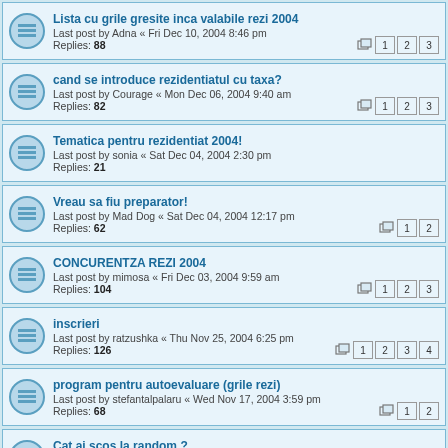Lista cu grile gresite inca valabile rezi 2004
Last post by Adna « Fri Dec 10, 2004 8:46 pm
Replies: 88
cand se introduce rezidentiatul cu taxa?
Last post by Courage « Mon Dec 06, 2004 9:40 am
Replies: 82
Tematica pentru rezidentiat 2004!
Last post by sonia « Sat Dec 04, 2004 2:30 pm
Replies: 21
Vreau sa fiu preparator!
Last post by Mad Dog « Sat Dec 04, 2004 12:17 pm
Replies: 62
CONCURENTZA REZI 2004
Last post by mimosa « Fri Dec 03, 2004 9:59 am
Replies: 104
inscrieri
Last post by ratzushka « Thu Nov 25, 2004 6:25 pm
Replies: 126
program pentru autoevaluare (grile rezi)
Last post by stefantalpalaru « Wed Nov 17, 2004 3:59 pm
Replies: 68
Cat ai scos la random ?
Last post by agorima « Tue Nov 16, 2004 5:09 pm
Replies: 19
Display topics from previous: All Topics
Sort by Post time